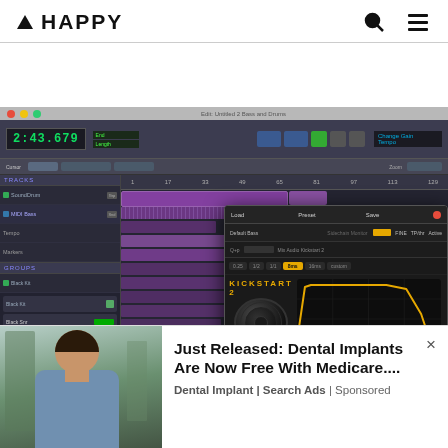▲ HAPPY
[Figure (screenshot): Pro Tools DAW session screenshot showing audio tracks with purple MIDI/audio blocks, mixer view on the left, timeline in center, and Nicky Romero Kickstart 2 plugin overlay on the right with a yellow sidechain curve and speaker graphic.]
[Figure (infographic): Advertisement overlay at bottom of page showing a smiling woman in a blue top outdoors, with ad text 'Just Released: Dental Implants Are Now Free With Medicare....' by Dental Implant | Search Ads | Sponsored, with an X close button.]
Just Released: Dental Implants Are Now Free With Medicare....
Dental Implant | Search Ads | Sponsored